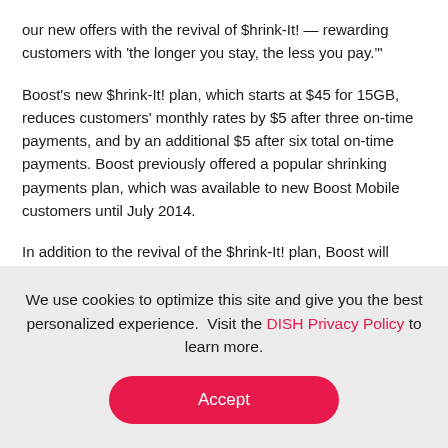our new offers with the revival of $hrink-It! — rewarding customers with 'the longer you stay, the less you pay.'
Boost's new $hrink-It! plan, which starts at $45 for 15GB, reduces customers' monthly rates by $5 after three on-time payments, and by an additional $5 after six total on-time payments. Boost previously offered a popular shrinking payments plan, which was available to new Boost Mobile customers until July 2014.
In addition to the revival of the $hrink-It! plan, Boost will
We use cookies to optimize this site and give you the best personalized experience.  Visit the DISH Privacy Policy to learn more.